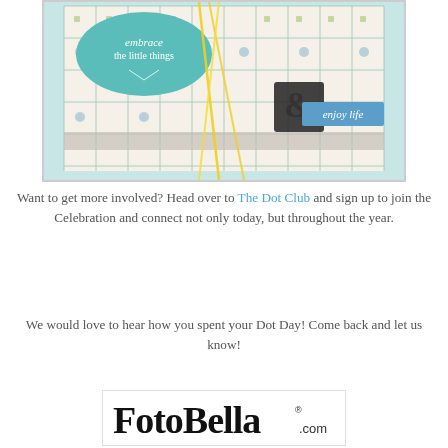[Figure (photo): A decorative handmade card or envelope with teal/blue and green geometric patterned paper, a teal oval label reading 'embrace the little things', yellow twine ribbon, a dark ampersand embellishment, and a blue tag reading 'enjoy life'.]
Want to get more involved? Head over to The Dot Club and sign up to join the Celebration and connect not only today, but throughout the year.
We would love to hear how you spent your Dot Day! Come back and let us know!
[Figure (logo): FotoBella.com logo in stylized script font with registered trademark symbol]